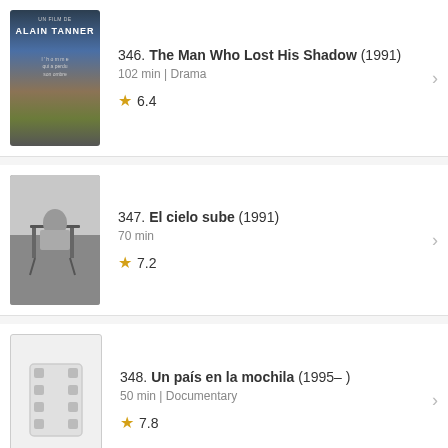346. The Man Who Lost His Shadow (1991) | 102 min | Drama | ★ 6.4
347. El cielo sube (1991) | 70 min | ★ 7.2
348. Un país en la mochila (1995– ) | 50 min | Documentary | ★ 7.8